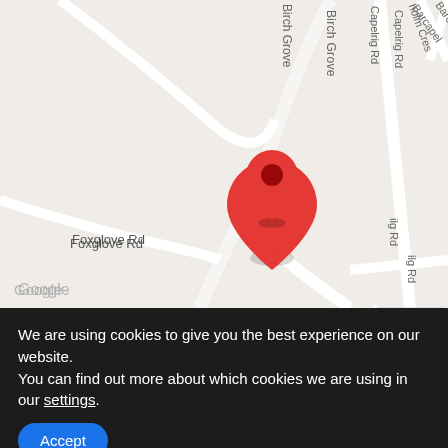[Figure (map): Google Maps screenshot showing a location pin on Birch Grove road near Foxglove Rd, Violet Pl, Capelrig Rd, and Barcapel roads. A red map marker is placed on Birch Grove. Map controls include a Street View person icon, zoom in (+) and zoom out (-) buttons on the right side.]
We are using cookies to give you the best experience on our website.
You can find out more about which cookies we are using in our settings.
Accept